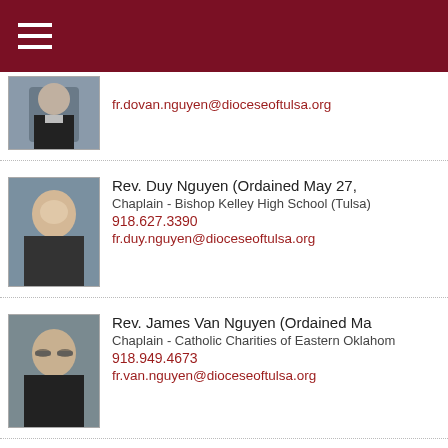Diocese of Tulsa directory header with navigation menu icon
[Figure (photo): Partial photo of a priest in clerical collar (Do Van Nguyen), cropped at top]
fr.dovan.nguyen@dioceseoftulsa.org
[Figure (photo): Photo of Rev. Duy Nguyen, smiling priest]
Rev. Duy Nguyen (Ordained May 27,
Chaplain - Bishop Kelley High School (Tulsa)
918.627.3390
fr.duy.nguyen@dioceseoftulsa.org
[Figure (photo): Photo of Rev. James Van Nguyen, priest with glasses]
Rev. James Van Nguyen (Ordained Ma
Chaplain - Catholic Charities of Eastern Oklahom
918.949.4673
fr.van.nguyen@dioceseoftulsa.org
[Figure (photo): Photo of Rev. Khiet Nguyen, JCL, older priest with glasses]
Rev. Khiet Nguyen, JCL (Ordained Ma
Chaplain - Prison Ministry and Blessed Sacrame
918.294.1904